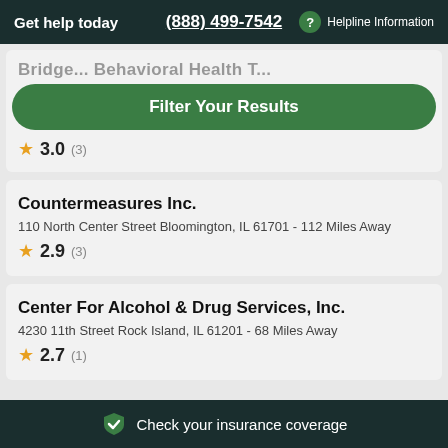Get help today  (888) 499-7542  ? Helpline Information
Bridge... Behavioral Health T... [partial, clipped]
[Figure (other): Filter Your Results green button]
★ 3.0 (3)
Countermeasures Inc.
110 North Center Street Bloomington, IL 61701 - 112 Miles Away
★ 2.9 (3)
Center For Alcohol & Drug Services, Inc.
4230 11th Street Rock Island, IL 61201 - 68 Miles Away
★ 2.7 (1)
✓ Check your insurance coverage